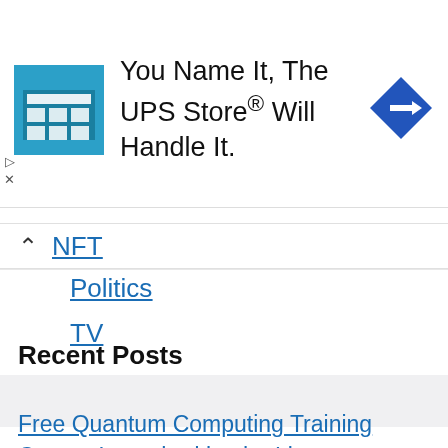[Figure (screenshot): UPS Store advertisement banner with store icon and navigation arrow badge. Text reads: You Name It, The UPS Store® Will Handle It.]
NFT
Politics
TV
Recent Posts
Free Quantum Computing Training Course Launched by the Linux Foundation and World Bank